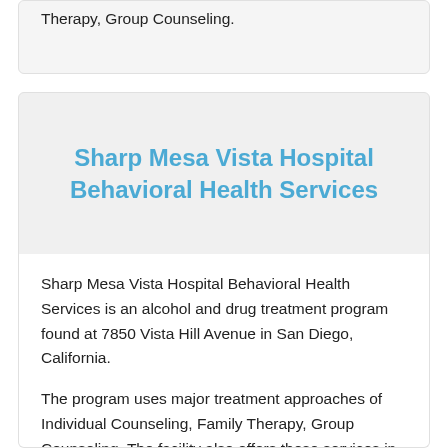Therapy, Group Counseling.
Sharp Mesa Vista Hospital Behavioral Health Services
Sharp Mesa Vista Hospital Behavioral Health Services is an alcohol and drug treatment program found at 7850 Vista Hill Avenue in San Diego, California.
The program uses major treatment approaches of Individual Counseling, Family Therapy, Group Counseling. The facility also offers these services in the following settings: Outpatient Drug Rehab.